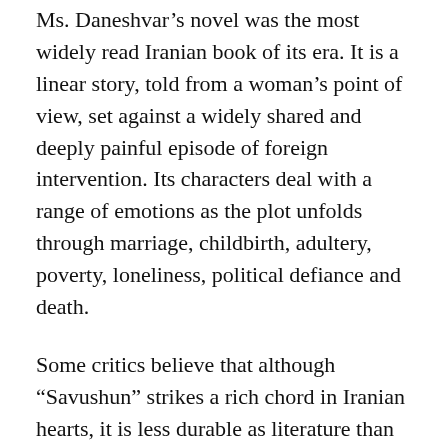Ms. Daneshvar's novel was the most widely read Iranian book of its era. It is a linear story, told from a woman's point of view, set against a widely shared and deeply painful episode of foreign intervention. Its characters deal with a range of emotions as the plot unfolds through marriage, childbirth, adultery, poverty, loneliness, political defiance and death.
Some critics believe that although “Savushun” strikes a rich chord in Iranian hearts, it is less durable as literature than avant-garde novels like “The Blind Owl,” a dazzlingly modern work of violent fantasy by Ms. Daneshvar’s contemporary, Sadegh Hedayat. Her book, however, was far more widely read in Iran.